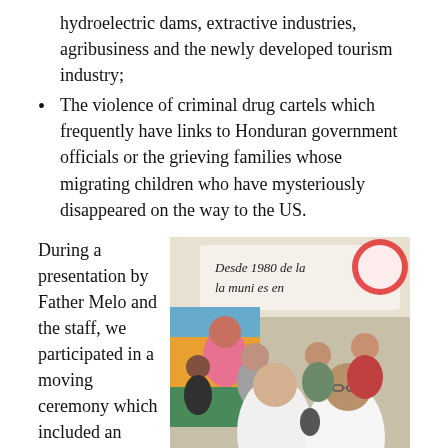hydroelectric dams, extractive industries, agribusiness and the newly developed tourism industry;
The violence of criminal drug cartels which frequently have links to Honduran government officials or the grieving families whose migrating children who have mysteriously disappeared on the way to the US.
During a presentation by Father Melo and the staff, we participated in a moving ceremony which included an offering of gifts from our delegation. Among other
[Figure (photo): Group of people at a ceremony, a banner reading 'Desde 1980 de la comunidades en' visible in the background. Two men in white shirts appear to be exchanging something in the foreground, with several other people standing around them.]